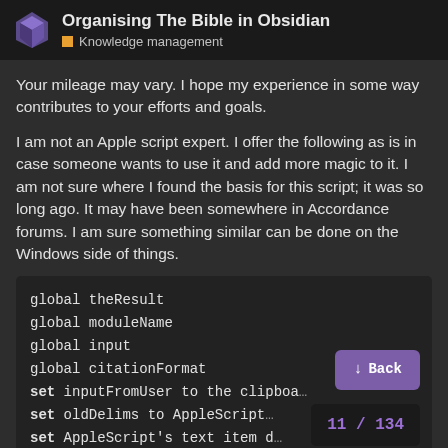Organising The Bible in Obsidian — Knowledge management
Your mileage may vary. I hope my experience in some way contributes to your efforts and goals.
I am not an Apple script expert. I offer the following as is in case someone wants to use it and add more magic to it. I am not sure where I found the basis for this script; it was so long ago. It may have been somewhere in Accordance forums. I am sure something similar can be done on the Windows side of things.
[Figure (screenshot): Code block showing AppleScript globals and set statements: global theResult, global moduleName, global input, global citationFormat, set inputFromUser to the clipboa..., set oldDelims to AppleScript..., set AppleScript's text item d...]
Back
11 / 134